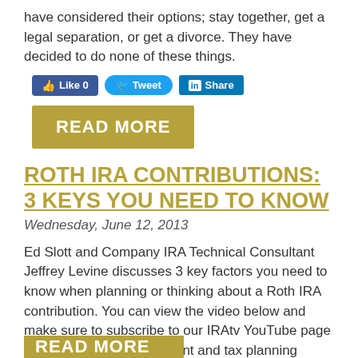have considered their options; stay together, get a legal separation, or get a divorce. They have decided to do none of these things.
[Figure (infographic): Social sharing buttons: Facebook Like (0), Twitter Tweet, LinkedIn Share]
[Figure (infographic): READ MORE button in gold/olive color]
ROTH IRA CONTRIBUTIONS: 3 KEYS YOU NEED TO KNOW
Wednesday, June 12, 2013
Ed Slott and Company IRA Technical Consultant Jeffrey Levine discusses 3 key factors you need to know when planning or thinking about a Roth IRA contribution. You can view the video below and make sure to subscribe to our IRAtv YouTube page for the latest IRA, retirement and tax planning videos.
[Figure (infographic): Social sharing buttons: Facebook Like (0), Twitter Tweet, LinkedIn Share]
[Figure (infographic): READ MORE button (partially visible) in gold/olive color]